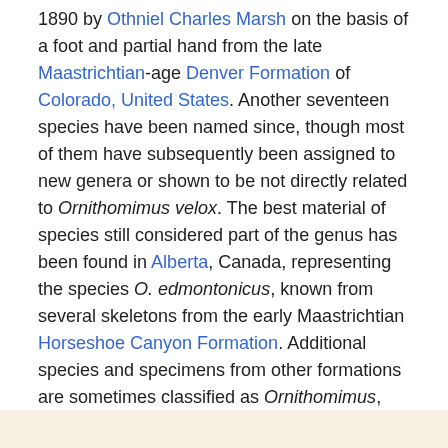1890 by Othniel Charles Marsh on the basis of a foot and partial hand from the late Maastrichtian-age Denver Formation of Colorado, United States. Another seventeen species have been named since, though most of them have subsequently been assigned to new genera or shown to be not directly related to Ornithomimus velox. The best material of species still considered part of the genus has been found in Alberta, Canada, representing the species O. edmontonicus, known from several skeletons from the early Maastrichtian Horseshoe Canyon Formation. Additional species and specimens from other formations are sometimes classified as Ornithomimus, such as Ornithomimus samueli (alternately classified in the genera Dromiceiomimus or Struthiomimus) from the earlier, Campanian-age Dinosaur Park Formation of Alberta.